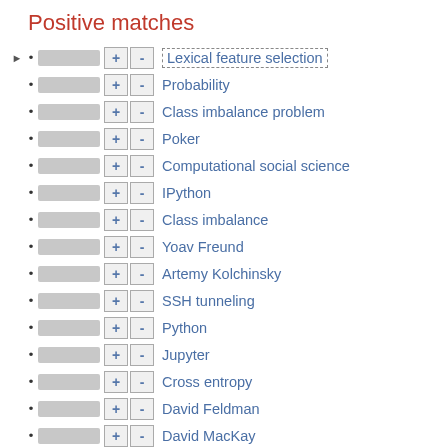Positive matches
Lexical feature selection
Probability
Class imbalance problem
Poker
Computational social science
IPython
Class imbalance
Yoav Freund
Artemy Kolchinsky
SSH tunneling
Python
Jupyter
Cross entropy
David Feldman
David MacKay